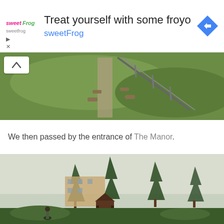[Figure (other): Advertisement banner for sweetFrog frozen yogurt. Shows sweetFrog logo on left, headline 'Treat yourself with some froyo' and 'sweetFrog' link text, blue navigation arrow diamond icon on right. Play and close controls at bottom left.]
[Figure (photo): Outdoor photograph of stone steps going up a grassy hillside with a metal handrail on the right side. The steps lead upward through green grass and vegetation.]
We then passed by the entrance of The Manor.
[Figure (photo): Photograph of The Manor hotel entrance. Tall pine/Norfolk Island pine trees dominate the scene. A gazebo-style entrance structure is visible in the center, with the hotel building behind it. A curved road leads to the entrance, with lush green landscaping around it.]